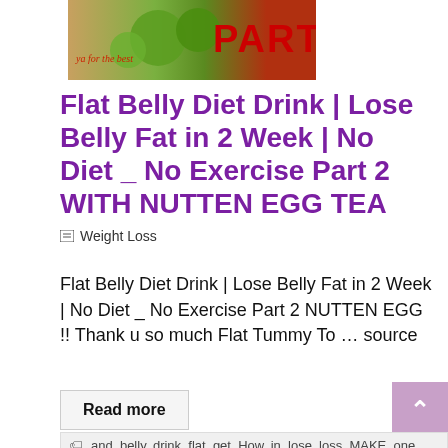[Figure (photo): Header image with green fruits/limes and bold red text reading PART on an orange-green background with cursive script text on the left.]
Flat Belly Diet Drink | Lose Belly Fat in 2 Week | No Diet _ No Exercise Part 2 WITH NUTTEN EGG TEA
Weight Loss
Flat Belly Diet Drink | Lose Belly Fat in 2 Week | No Diet _ No Exercise Part 2 NUTTEN EGG !! Thank u so much Flat Tummy To … source
Read more
and, belly, drink, flat, get, How, in, lose, loss, MAKE, one,